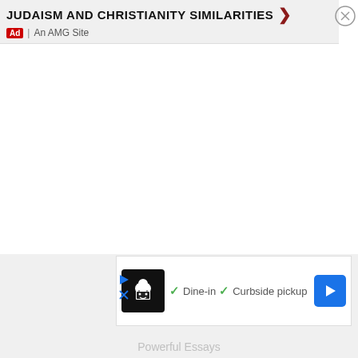[Figure (screenshot): Top advertisement banner with text 'JUDAISM AND CHRISTIANITY SIMILARITIES' and a dark red arrow, with an 'Ad | An AMG Site' label below, and an X close button in the top right corner.]
[Figure (screenshot): Bottom advertisement banner showing a chef icon on black background, checkmarks next to 'Dine-in' and 'Curbside pickup', a blue navigation arrow button, and small play/close controls on the left.]
Powerful Essays